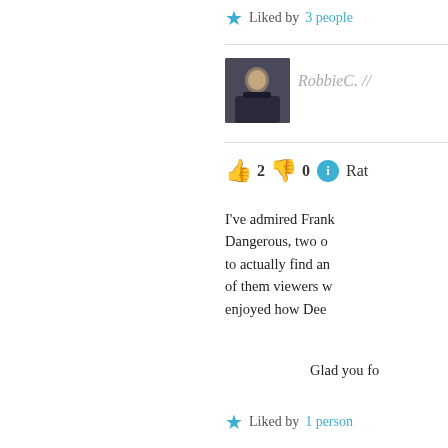Liked by 3 people
[Figure (photo): User avatar photo of RobbieC, showing a man in a dark jacket]
RobbieC. //
👍 2 👎 0 ℹ️ Rate
I've admired Frank Dangerous, two o to actually find an of them viewers w enjoyed how Dee
Liked by 1 person
[Figure (photo): User avatar photo, possibly Kare, showing a blue/teal peacock or bird-like image]
Kare
👍 1 👎 0
Glad you fo